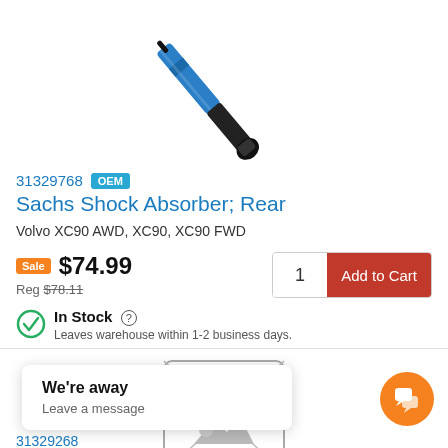[Figure (photo): Sachs shock absorber product photo — black and blue shock absorber diagonal on white background]
31329768  OEM
Sachs Shock Absorber; Rear
Volvo XC90 AWD, XC90, XC90 FWD
Sale $74.99  Reg $78.11
In Stock  Leaves warehouse within 1-2 business days.
[Figure (illustration): Broken/placeholder image icon — grey rectangle with landscape placeholder graphic and X lines]
We're away
Leave a message
31329768